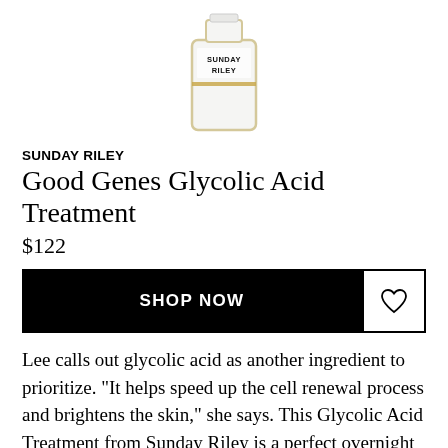[Figure (photo): Sunday Riley product bottle (white with gold accent and black label) shown from the top portion, centered on white background]
SUNDAY RILEY
Good Genes Glycolic Acid Treatment
$122
SHOP NOW
Lee calls out glycolic acid as another ingredient to prioritize. "It helps speed up the cell renewal process and brightens the skin," she says. This Glycolic Acid Treatment from Sunday Riley is a perfect overnight treatment that deeply exfoliates the skin to tackle a number of issues, including